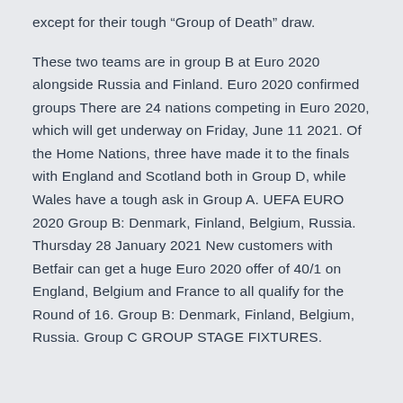except for their tough “Group of Death” draw.
These two teams are in group B at Euro 2020 alongside Russia and Finland. Euro 2020 confirmed groups There are 24 nations competing in Euro 2020, which will get underway on Friday, June 11 2021. Of the Home Nations, three have made it to the finals with England and Scotland both in Group D, while Wales have a tough ask in Group A. UEFA EURO 2020 Group B: Denmark, Finland, Belgium, Russia. Thursday 28 January 2021 New customers with Betfair can get a huge Euro 2020 offer of 40/1 on England, Belgium and France to all qualify for the Round of 16. Group B: Denmark, Finland, Belgium, Russia. Group C GROUP STAGE FIXTURES.